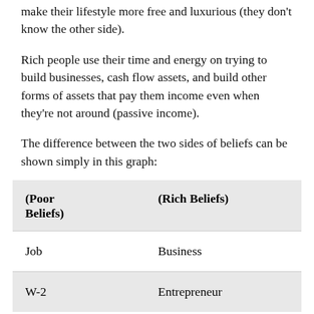make their lifestyle more free and luxurious (they don't know the other side).
Rich people use their time and energy on trying to build businesses, cash flow assets, and build other forms of assets that pay them income even when they're not around (passive income).
The difference between the two sides of beliefs can be shown simply in this graph:
| (Poor Beliefs) | (Rich Beliefs) |
| --- | --- |
| Job | Business |
| W-2 | Entrepreneur |